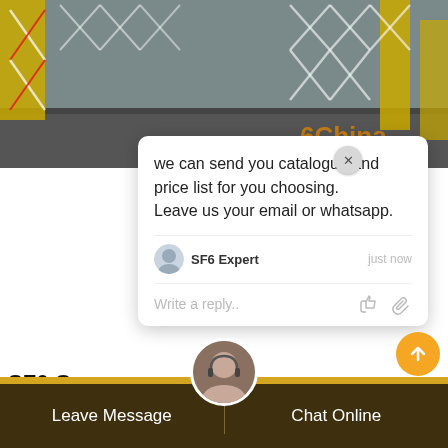[Figure (photo): Industrial equipment photo showing yellow folding gate/fence structures on a platform, with red cross-pattern scissor gates visible]
we can send you catalogue and price list for you choosing.
Leave us your email or whatsapp.
SF6 Expert   just now
Write a reply..
SF6 G
The ENERVAC SF6 Gas Servicing Cart is designed for the process ge metal-clad switch g and transformers that are charged during normal operation with SF6 gas as a dielectric.
Leave Message   Chat Online